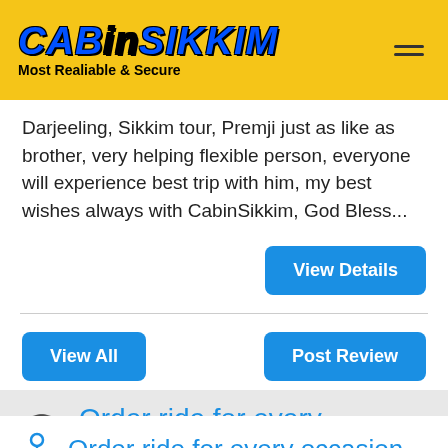CABinSIKKIM - Most Realiable & Secure
Darjeeling, Sikkim tour, Premji just as like as brother, very helping flexible person, everyone will experience best trip with him, my best wishes always with CabinSikkim, God Bless...
View Details
View All
Post Review
Order ride for every occasion